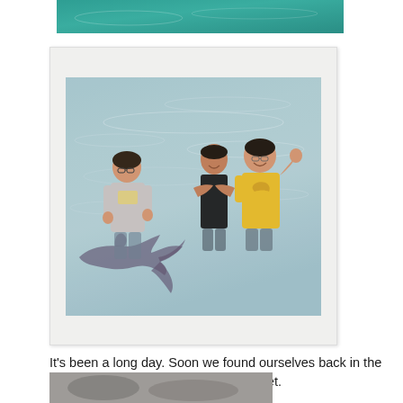[Figure (photo): Top cropped photo showing teal/turquoise water surface]
[Figure (photo): Polaroid-style photo of three people standing in shallow water with a shark visible beneath the surface. One person on the left wears a light shirt, two people on the right pose together, one in a black shirt and one in a yellow shirt.]
It's been a long day. Soon we found ourselves back in the island and enjoying the beautiful sunset.
[Figure (photo): Bottom cropped photo, partially visible, appears to show a grey/outdoor scene]